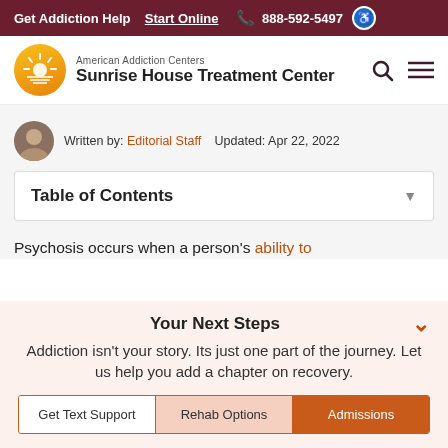Get Addiction Help  Start Online  888-592-5497
[Figure (logo): American Addiction Centers - Sunrise House Treatment Center logo with sun icon]
Written by: Editorial Staff   Updated: Apr 22, 2022
Table of Contents
Psychosis occurs when a person's ability to
Your Next Steps
Addiction isn't your story. Its just one part of the journey. Let us help you add a chapter on recovery.
Get Text Support  Rehab Options  Admissions